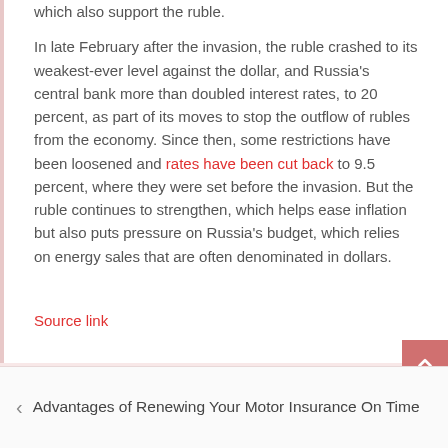which also support the ruble.
In late February after the invasion, the ruble crashed to its weakest-ever level against the dollar, and Russia's central bank more than doubled interest rates, to 20 percent, as part of its moves to stop the outflow of rubles from the economy. Since then, some restrictions have been loosened and rates have been cut back to 9.5 percent, where they were set before the invasion. But the ruble continues to strengthen, which helps ease inflation but also puts pressure on Russia's budget, which relies on energy sales that are often denominated in dollars.
Source link
Advantages of Renewing Your Motor Insurance On Time